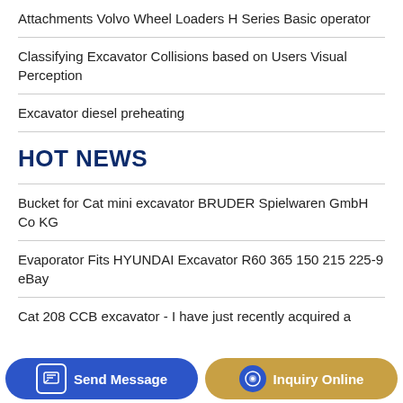Attachments Volvo Wheel Loaders H Series Basic operator
Classifying Excavator Collisions based on Users Visual Perception
Excavator diesel preheating
HOT NEWS
Bucket for Cat mini excavator BRUDER Spielwaren GmbH Co KG
Evaporator Fits HYUNDAI Excavator R60 365 150 215 225-9 eBay
Cat 208 CCB excavator - I have just recently acquired a
Send Message
Inquiry Online